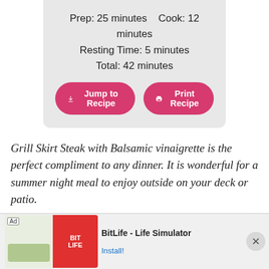Prep: 25 minutes   Cook: 12 minutes
Resting Time: 5 minutes
Total: 42 minutes
Jump to Recipe
Print Recipe
Grill Skirt Steak with Balsamic vinaigrette is the perfect compliment to any dinner. It is wonderful for a summer night meal to enjoy outside on your deck or patio.
94
[Figure (photo): Close-up photo of grilled skirt steak with balsamic vinaigrette alongside green salad leaves]
Ad   BitLife - Life Simulator   Install!